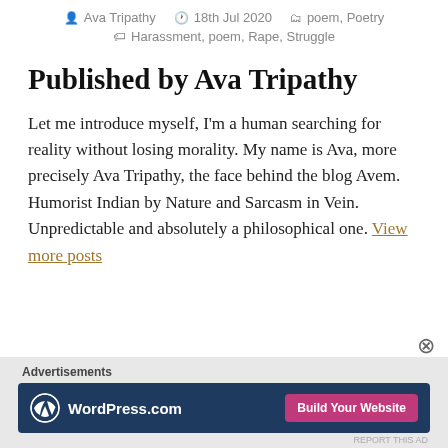Ava Tripathy  18th Jul 2020  poem, Poetry  Harassment, poem, Rape, Struggle
Published by Ava Tripathy
Let me introduce myself, I'm a human searching for reality without losing morality. My name is Ava, more precisely Ava Tripathy, the face behind the blog Avem. Humorist Indian by Nature and Sarcasm in Vein. Unpredictable and absolutely a philosophical one. View more posts
[Figure (other): WordPress.com advertisement banner with 'Build Your Website' button]